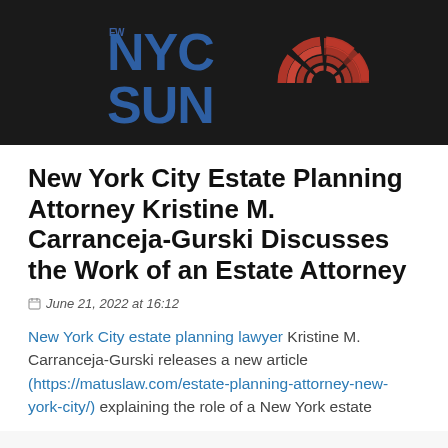[Figure (logo): NYC Sun newspaper logo — large bold blue letters 'NYC SUN' with red circular swirl graphic, on dark/black background strip]
New York City Estate Planning Attorney Kristine M. Carranceja-Gurski Discusses the Work of an Estate Attorney
June 21, 2022 at 16:12
New York City estate planning lawyer Kristine M. Carranceja-Gurski releases a new article (https://matuslaw.com/estate-planning-attorney-new-york-city/) explaining the role of a New York estate